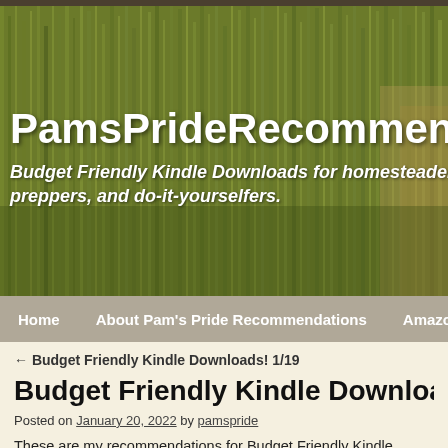[Figure (photo): Wheat field header image with tall grain stalks, serving as website banner background]
PamsPrideRecommend
Budget Friendly Kindle Downloads for homesteaders, preppers, and do-it-yourselfers.
Home   About Pam's Pride Recommendations   Amazon Deals!
← Budget Friendly Kindle Downloads! 1/19
Budget Friendly Kindle Downloads! 1/2
Posted on January 20, 2022 by pamspride
These are my recommendations for Budget Friendly Kindle Downloads for homesteaders, preppers, and do-it-yourselfers. If you do not have a Kindle you can get the Amazon homepage. Please "Like" and Share a link to my bl and come back daily for more great picks. Thank you! Enjoy!